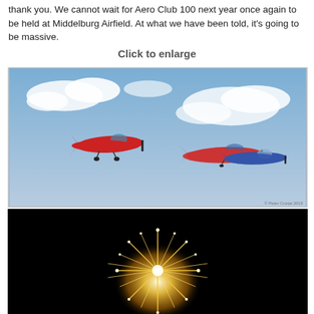thank you. We cannot wait for Aero Club 100 next year once again to be held at Middelburg Airfield. At what we have been told, it's going to be massive.
Click to enlarge
[Figure (photo): Three aircraft flying in formation against a cloudy blue sky — a red monoplane on the left and two more aircraft (including a classic warbird) on the right. Photo credit visible in lower right corner.]
[Figure (photo): Fireworks explosion against a black night sky — a large golden starburst firework with sparkling trails radiating outward.]